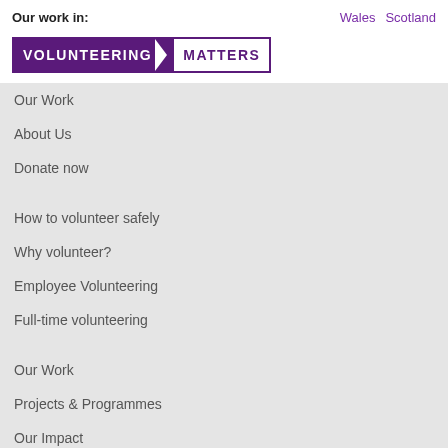Our work in:   Wales   Scotland
[Figure (logo): Volunteering Matters logo — white text on purple background with arrow motif]
Our Work
About Us
Donate now
How to volunteer safely
Why volunteer?
Employee Volunteering
Full-time volunteering
Our Work
Projects & Programmes
Our Impact
Volunteering Matters Cymru